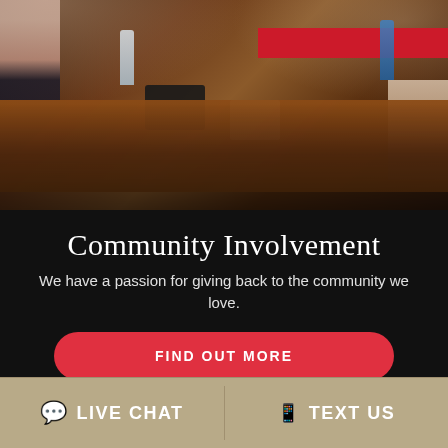[Figure (photo): Meeting room scene with people seated around a long wooden conference table with food, drinks, bottles, and a phone on the table. A person standing on the right side partially visible.]
Community Involvement
We have a passion for giving back to the community we love.
FIND OUT MORE
💬 LIVE CHAT
📱 TEXT US